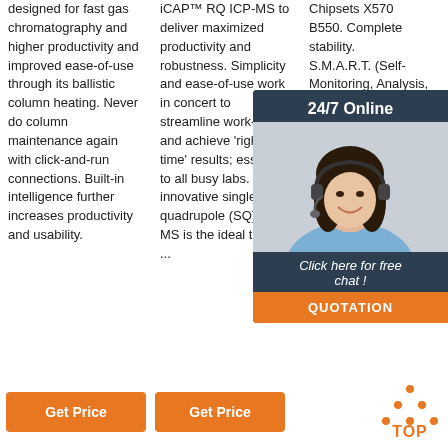designed for fast gas chromatography and higher productivity and improved ease-of-use through its ballistic column heating. Never do column maintenance again with click-and-run connections. Built-in intelligence further increases productivity and usability.
iCAP™ RQ ICP-MS to deliver maximized productivity and robustness. Simplicity and ease-of-use work in concert to streamline work-flows and achieve 'right-first-time' results; essential to all busy labs. This innovative single quadrupole (SQ) ICP-MS is the ideal trace ...
Chipsets X570 B550. Complete stability. S.M.A.R.T. (Self-Monitoring, Analysis, and Reporting Technology) Self-di
[Figure (photo): Customer service representative woman with headset, smiling, on dark blue background. Overlay chat widget with '24/7 Online' header, 'Click here for free chat!' text, and orange QUOTATION button.]
Get Price
Get Price
Get Price
[Figure (illustration): Orange TOP back-to-top icon with dots arranged in triangle above the word TOP in orange bold text.]